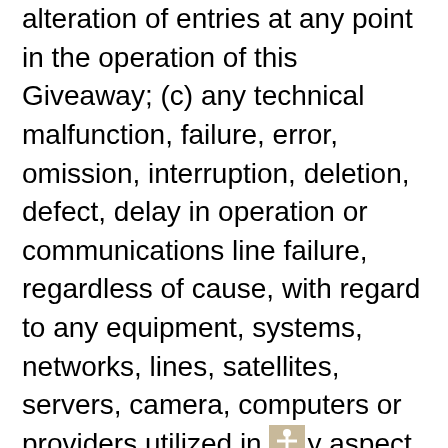alteration of entries at any point in the operation of this Giveaway; (c) any technical malfunction, failure, error, omission, interruption, deletion, defect, delay in operation or communications line failure, regardless of cause, with regard to any equipment, systems, networks, lines, satellites, servers, camera, computers or providers utilized in any aspect of the operation of the Giveaway; (d) inaccessibility or unavailability of any network or wireless service, the Internet or website or any combination thereof; (e) suspended or discontinued Internet, wireless or landline phone service; or (f) any injury or damage to participant's or to any other person's computer or mobile device which may be related to or resulting from